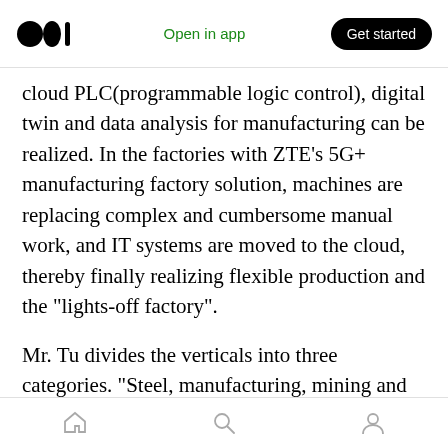Medium logo | Open in app | Get started
cloud PLC(programmable logic control), digital twin and data analysis for manufacturing can be realized. In the factories with ZTE’s 5G+ manufacturing factory solution, machines are replacing complex and cumbersome manual work, and IT systems are moved to the cloud, thereby finally realizing flexible production and the “lights-off factory”.
Mr. Tu divides the verticals into three categories. “Steel, manufacturing, mining and port industries, featuring strong demands, rich scenarios, mature solutions, and clear business
Home | Search | Profile